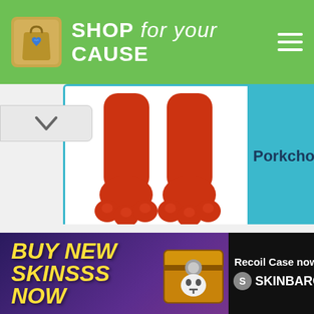SHOP for your CAUSE
[Figure (screenshot): Partial product card showing red cartoon dog paws/feet (appears to be Clifford the Big Red Dog) on white background with teal border, with a teal label panel showing the word 'Porkchop']
[Figure (screenshot): Advertisement banner: 'BUY NEW SKINSSS NOW' with a golden loot chest image on purple background, and 'Recoil Case now at SKINBARON' on dark background]